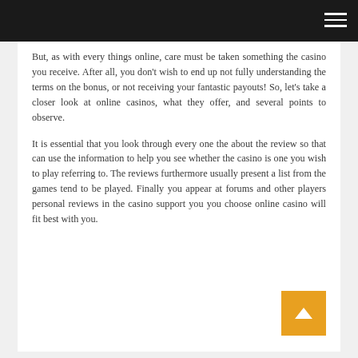But, as with every things online, care must be taken something the casino you receive. After all, you don't wish to end up not fully understanding the terms on the bonus, or not receiving your fantastic payouts! So, let's take a closer look at online casinos, what they offer, and several points to observe.
It is essential that you look through every one the about the review so that can use the information to help you see whether the casino is one you wish to play referring to. The reviews furthermore usually present a list from the games tend to be played. Finally you appear at forums and other players personal reviews in the casino support you you choose online casino will fit best with you.